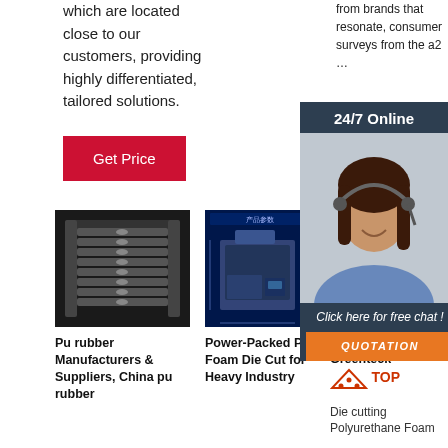which are located close to our customers, providing highly differentiated, tailored solutions.
from brands that resonate, consumer surveys from the a2 …
Get Price
Get
24/7 Online
[Figure (photo): Customer support agent wearing a headset, smiling]
Click here for free chat ! QUOTATION
[Figure (photo): Stack of black pu rubber pads/parts arranged in rows]
[Figure (engineering-diagram): Technical diagram of a PU foam die cut machine with Chinese text 产品参数 (product parameters) and dimension lines]
[Figure (photo): Blue industrial drums/barrels]
Pu rubber Manufacturers & Suppliers, China pu rubber
Power-Packed Pu Foam Die Cut for Heavy Industry
PU Foam - Greenteck TOP
Die cutting Polyurethane Foam